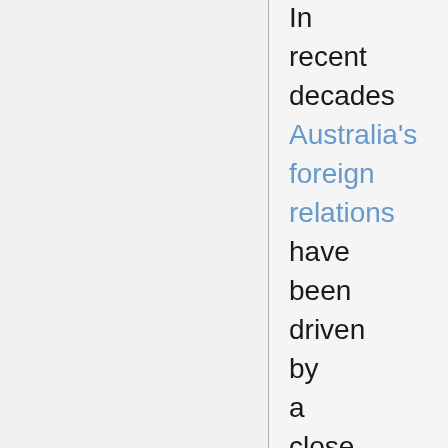In recent decades Australia's foreign relations have been driven by a close association with the United